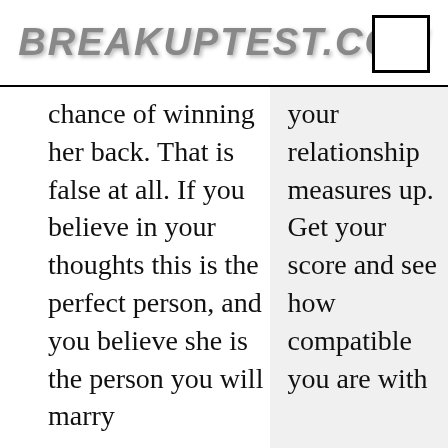BREAKUPTEST.COM
chance of winning her back. That is false at all. If you believe in your thoughts this is the perfect person, and you believe she is the person you will marry
your relationship measures up. Get your score and see how compatible you are with